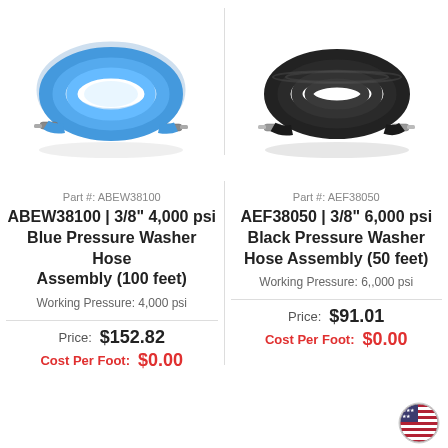[Figure (photo): Coiled blue pressure washer hose with metal fittings]
[Figure (photo): Coiled black pressure washer hose with metal fittings]
Part #: ABEW38100
Part #: AEF38050
ABEW38100 | 3/8" 4,000 psi Blue Pressure Washer Hose Assembly (100 feet)
AEF38050 | 3/8" 6,000 psi Black Pressure Washer Hose Assembly (50 feet)
Working Pressure: 4,000 psi
Working Pressure: 6,000 psi
Price: $152.82
Cost Per Foot: $0.00
Price: $91.01
Cost Per Foot: $0.00
[Figure (logo): American flag circular badge]